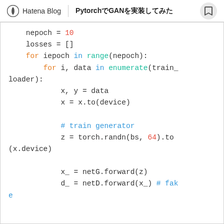Hatena Blog | PytorchでGANを実装してみた
nepoch = 10
losses = []
for iepoch in range(nepoch):
    for i, data in enumerate(train_loader):
        x, y = data
        x = x.to(device)

        # train generator
        z = torch.randn(bs, 64).to(x.device)

        x_ = netG.forward(z)
        d_ = netD.forward(x_) # fake